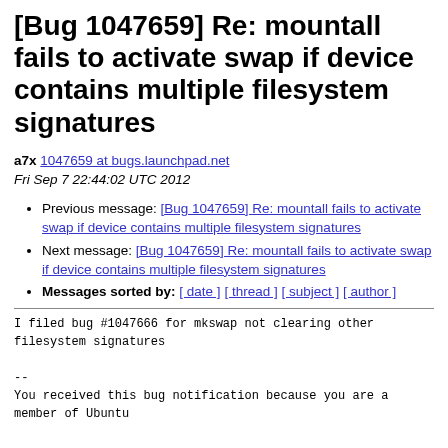[Bug 1047659] Re: mountall fails to activate swap if device contains multiple filesystem signatures
a7x 1047659 at bugs.launchpad.net
Fri Sep 7 22:44:02 UTC 2012
Previous message: [Bug 1047659] Re: mountall fails to activate swap if device contains multiple filesystem signatures
Next message: [Bug 1047659] Re: mountall fails to activate swap if device contains multiple filesystem signatures
Messages sorted by: [ date ] [ thread ] [ subject ] [ author ]
I filed bug #1047666 for mkswap not clearing other filesystem signatures

--
You received this bug notification because you are a member of Ubuntu